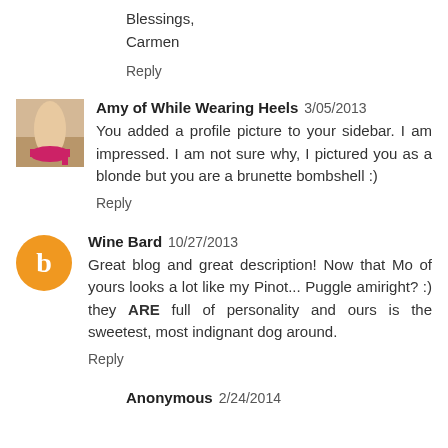Blessings,
Carmen
Reply
Amy of While Wearing Heels  3/05/2013
You added a profile picture to your sidebar. I am impressed. I am not sure why, I pictured you as a blonde but you are a brunette bombshell :)
Reply
Wine Bard  10/27/2013
Great blog and great description! Now that Mo of yours looks a lot like my Pinot... Puggle amiright? :) they ARE full of personality and ours is the sweetest, most indignant dog around.
Reply
Anonymous  2/24/2014